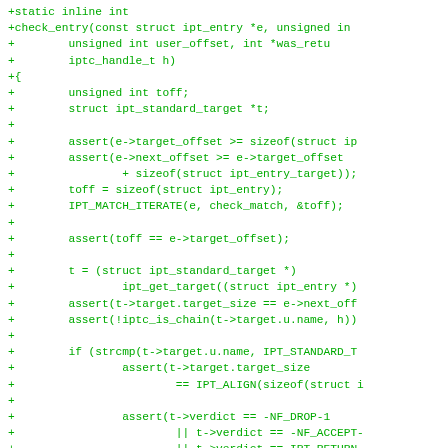[Figure (screenshot): Source code diff showing a C function check_entry with green '+' diff markers. The code includes function signature, variable declarations, assert statements, and conditional logic for IPT firewall rule checking.]